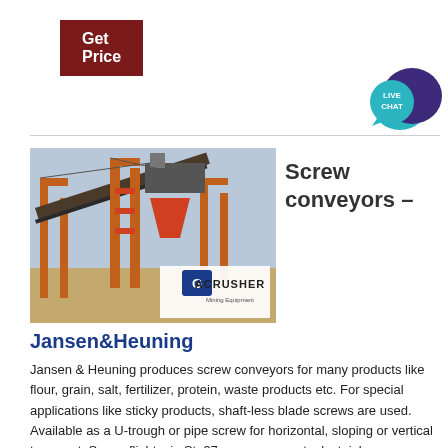Get Price
[Figure (photo): Industrial mining/conveyor facility with orange metal structure, conveyor belts, and machinery. ACRUSHER Mining Equipment logo overlaid in bottom right of image.]
Screw conveyors –
Jansen&Heuning
Jansen & Heuning produces screw conveyors for many products like flour, grain, salt, fertilizer, protein, waste products etc. For special applications like sticky products, shaft-less blade screws are used. Available as a U-trough or pipe screw for horizontal, sloping or vertical transport. Screw-flights, in St. 37, manganese steel, stainless